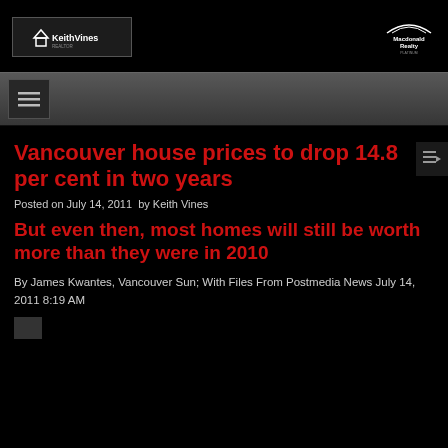[Figure (logo): Keith Vines logo - white text on dark background with house icon]
[Figure (logo): Macdonald Realty logo - white text with arch graphic]
[Figure (other): Navigation bar with hamburger menu icon]
Vancouver house prices to drop 14.8 per cent in two years
Posted on July 14, 2011  by Keith Vines
But even then, most homes will still be worth more than they were in 2010
By James Kwantes, Vancouver Sun; With Files From Postmedia News July 14, 2011 8:19 AM